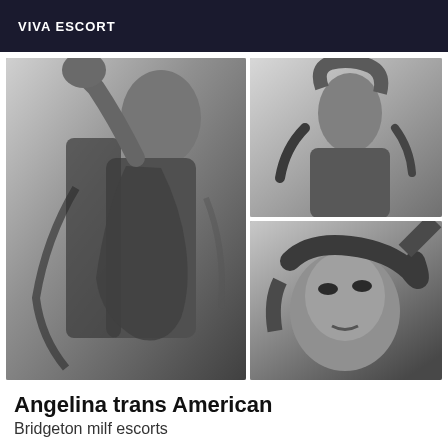VIVA ESCORT
[Figure (photo): Three black and white photos of a woman in a black sheer robe. Left: full-length pose with arm raised. Top right: upper body shot. Bottom right: close-up face shot with hair tousled.]
Angelina trans American
Bridgeton milf escorts